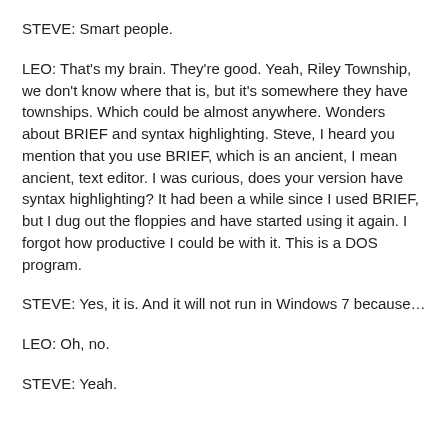STEVE: Smart people.
LEO: That's my brain. They're good. Yeah, Riley Township, we don't know where that is, but it's somewhere they have townships. Which could be almost anywhere. Wonders about BRIEF and syntax highlighting. Steve, I heard you mention that you use BRIEF, which is an ancient, I mean ancient, text editor. I was curious, does your version have syntax highlighting? It had been a while since I used BRIEF, but I dug out the floppies and have started using it again. I forgot how productive I could be with it. This is a DOS program.
STEVE: Yes, it is. And it will not run in Windows 7 because...
LEO: Oh, no.
STEVE: Yeah.